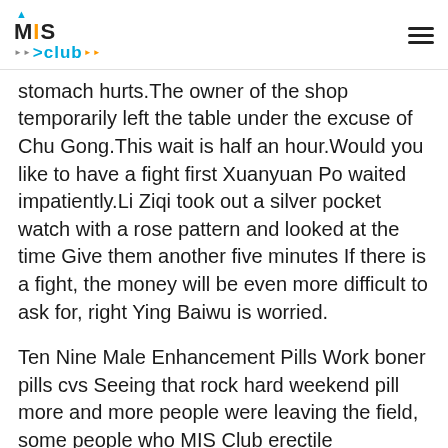MIS Club logo and hamburger menu
stomach hurts.The owner of the shop temporarily left the table under the excuse of Chu Gong.This wait is half an hour.Would you like to have a fight first Xuanyuan Po waited impatiently.Li Ziqi took out a silver pocket watch with a rose pattern and looked at the time Give them another five minutes If there is a fight, the money will be even more difficult to ask for, right Ying Baiwu is worried.
Ten Nine Male Enhancement Pills Work boner pills cvs Seeing that rock hard weekend pill more and more people were leaving the field, some people who MIS Club erectile dysfunction medicine buy online were planning to fight, became less confident and stood up.
Hehe, do you want to come together.The middle aged